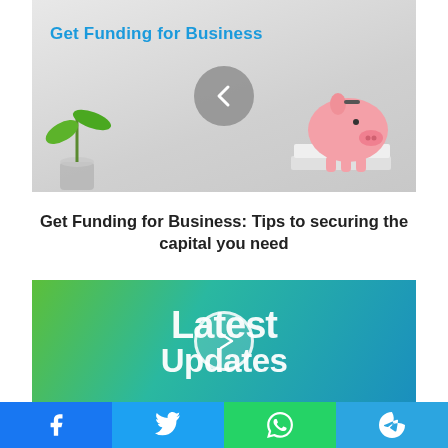[Figure (photo): Promotional banner image showing a green plant in a jar of coins on the left and a pink piggy bank on a stack of books on the right, with a left-arrow navigation circle in the center. Text overlay reads 'Get Funding for Business' in blue bold font.]
Get Funding for Business: Tips to securing the capital you need
[Figure (screenshot): Green-to-teal gradient video thumbnail with large white text reading 'Latest Updates' and a circular play button overlay in the center.]
Facebook | Twitter | WhatsApp | Telegram share buttons